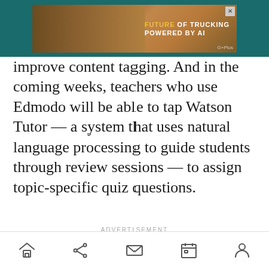[Figure (screenshot): Advertisement banner for 'Future of Trucking Powered by AI' with a truck image on a desert background, teal header bar, and a close button (X) in the top right corner. GPlusMedia logo in bottom right of ad.]
improve content tagging. And in the coming weeks, teachers who use Edmodo will be able to tap Watson Tutor — a system that uses natural language processing to guide students through review sessions — to assign topic-specific quiz questions.
ADVERTISEMENT
Home | Share | Mail | Calendar | Profile icons navigation bar